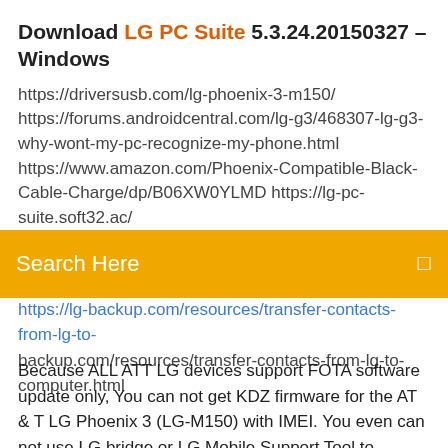Download LG PC Suite 5.3.24.20150327 – Windows
https://driversusb.com/lg-phoenix-3-m150/
https://forums.androidcentral.com/lg-g3/468307-lg-g3-why-wont-my-pc-recognize-my-phone.html
https://www.amazon.com/Phoenix-Compatible-Black-Cable-Charge/dp/B06XW0YLMD https://lg-pc-suite.soft32.ac/
Search Here
backup.com/resources/transfer-contacts-from-lg-to-computer.html
Because ALL ATT LG devices support FOTA software update only, You can not get KDZ firmware for the AT & T LG Phoenix 3 (LG-M150) with IMEI. You even can not use LG bridge or LG Mobile Support Tool to update the software of AT & T LG Phoenix 3. LG Software & Firmware | LG Hong kong Finding answers and information is easy with LG online service and